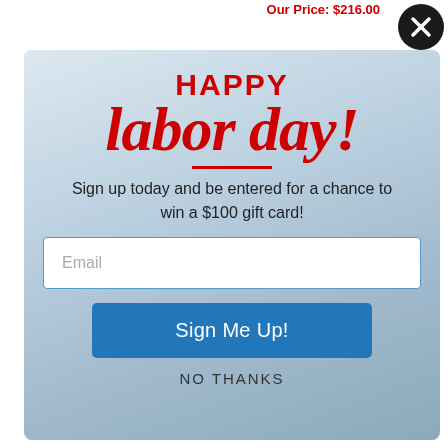Our Price: $216.00
[Figure (screenshot): Black circle close button with X icon in top right corner]
[Figure (infographic): Labor Day promotional modal popup with city skyline background. Contains 'HAPPY' in bold red, 'labor day!' in large red italic script, a red horizontal line divider, text 'Sign up today and be entered for a chance to win a $100 gift card!', an email input field, a blue 'Sign Me Up!' button, and 'NO THANKS' text link.]